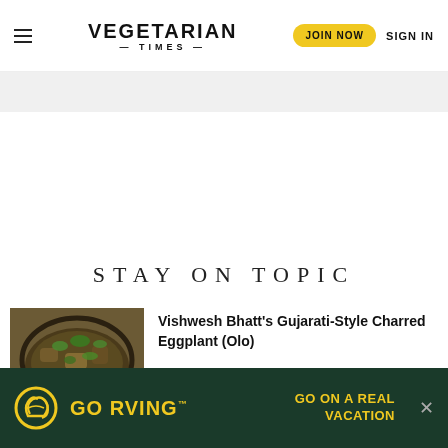VEGETARIAN TIMES | JOIN NOW | SIGN IN
STAY ON TOPIC
[Figure (photo): Overhead shot of a pan with charred eggplant dish topped with fresh herbs]
Vishwesh Bhatt's Gujarati-Style Charred Eggplant (Olo)
[Figure (infographic): Go RVing advertisement banner: dark green background, yellow Go RVing logo with helmet icon, text GO ON A REAL VACATION]